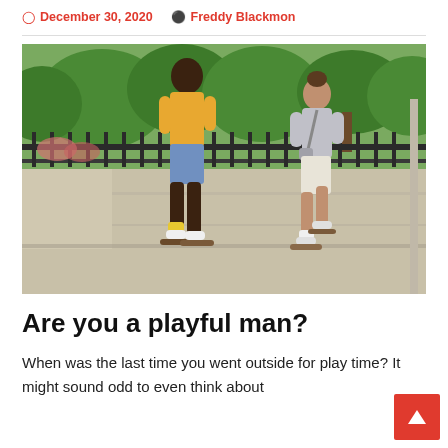December 30, 2020   Freddy Blackmon
[Figure (photo): Two young men skateboarding on a sidewalk/plaza area outdoors, with green trees and a metal railing in the background. The man on the left wears a yellow t-shirt and blue shorts; the man on the right wears a grey shirt and white shorts with a crossbody bag.]
Are you a playful man?
When was the last time you went outside for play time? It might sound odd to even think about